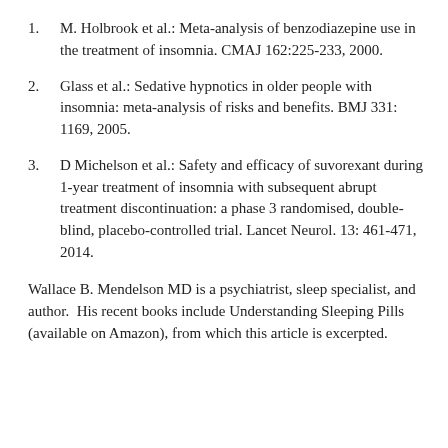M. Holbrook et al.: Meta-analysis of benzodiazepine use in the treatment of insomnia. CMAJ 162:225-233, 2000.
Glass et al.: Sedative hypnotics in older people with insomnia: meta-analysis of risks and benefits. BMJ 331: 1169, 2005.
D Michelson et al.: Safety and efficacy of suvorexant during 1-year treatment of insomnia with subsequent abrupt treatment discontinuation: a phase 3 randomised, double-blind, placebo-controlled trial. Lancet Neurol. 13: 461-471, 2014.
Wallace B. Mendelson MD is a psychiatrist, sleep specialist, and author.  His recent books include Understanding Sleeping Pills (available on Amazon), from which this article is excerpted.